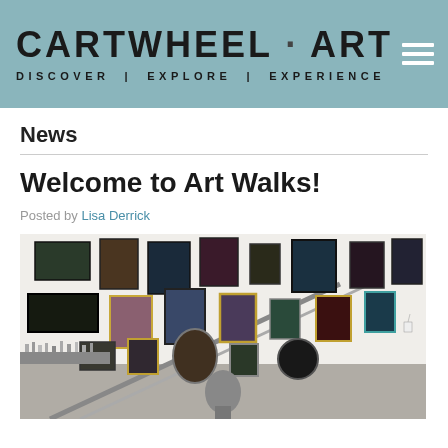CARTWHEEL · ART — DISCOVER | EXPLORE | EXPERIENCE
News
Welcome to Art Walks!
Posted by Lisa Derrick
[Figure (photo): Interior of an art gallery showing a staircase with numerous framed artworks hung on a white wall, including paintings of landscapes, portraits, and figures in various frame styles.]